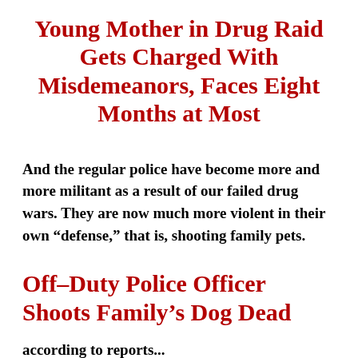Young Mother in Drug Raid Gets Charged With Misdemeanors, Faces Eight Months at Most
And the regular police have become more and more militant as a result of our failed drug wars. They are now much more violent in their own “defense,” that is, shooting family pets.
Off-Duty Police Officer Shoots Family’s Dog Dead
according to reports...